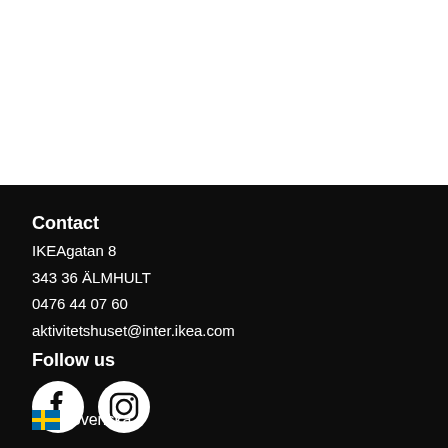Contact
IKEAgatan 8
343 36 ÄLMHULT
0476 44 07 60
aktivitetshuset@inter.ikea.com
Follow us
[Figure (logo): Facebook icon (white circle with Facebook logo)]
[Figure (logo): Instagram icon (white circle with Instagram logo)]
🇸🇪 Svenska